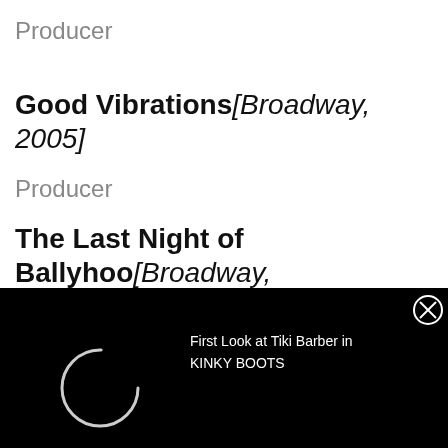Producer
Good Vibrations[Broadway, 2005]
Producer
The Last Night of Ballyhoo[Broadway, 1997]
Producer
Buried Child[Broadway, 1996]
[Figure (screenshot): Black advertisement bar at bottom with spinning loading circle and text: First Look at Tiki Barber in KINKY BOOTS, with a close button (X)]